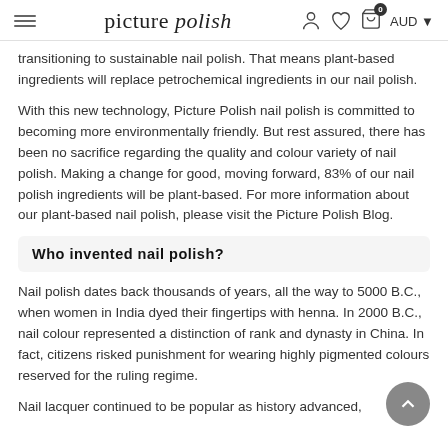picture polish — AUD
transitioning to sustainable nail polish. That means plant-based ingredients will replace petrochemical ingredients in our nail polish.
With this new technology, Picture Polish nail polish is committed to becoming more environmentally friendly. But rest assured, there has been no sacrifice regarding the quality and colour variety of nail polish. Making a change for good, moving forward, 83% of our nail polish ingredients will be plant-based. For more information about our plant-based nail polish, please visit the Picture Polish Blog.
Who invented nail polish?
Nail polish dates back thousands of years, all the way to 5000 B.C., when women in India dyed their fingertips with henna. In 2000 B.C., nail colour represented a distinction of rank and dynasty in China. In fact, citizens risked punishment for wearing highly pigmented colours reserved for the ruling regime.
Nail lacquer continued to be popular as history advanced,